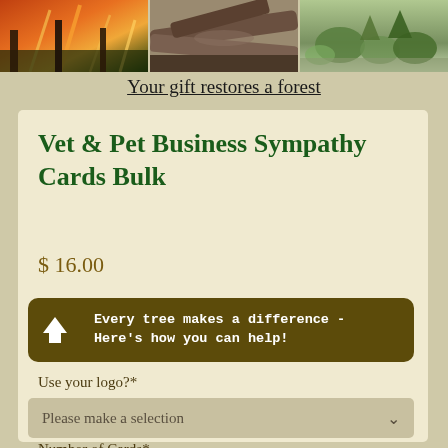[Figure (photo): Three side-by-side photos: forest fire with orange flames, fallen logs/debris, and green shrubs/saplings — showing forest restoration stages]
Your gift restores a forest
Vet & Pet Business Sympathy Cards Bulk
$ 16.00
Every tree makes a difference - Here's how you can help!
Use your logo?*
Please make a selection
Number of Cards*